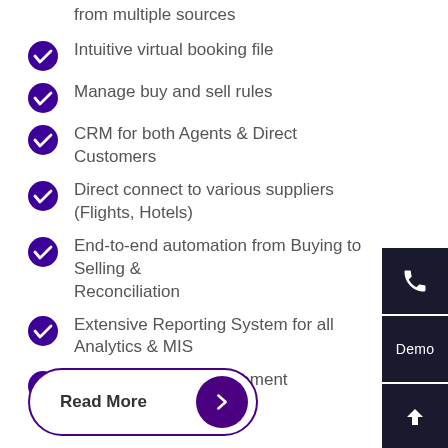from multiple sources
Intuitive virtual booking file
Manage buy and sell rules
CRM for both Agents & Direct Customers
Direct connect to various suppliers (Flights, Hotels)
End-to-end automation from Buying to Selling & Reconciliation
Extensive Reporting System for all Analytics & MIS
Exchange rate management
Read More